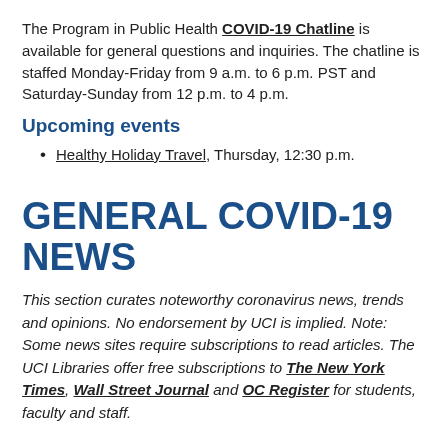The Program in Public Health COVID-19 Chatline is available for general questions and inquiries. The chatline is staffed Monday-Friday from 9 a.m. to 6 p.m. PST and Saturday-Sunday from 12 p.m. to 4 p.m.
Upcoming events
Healthy Holiday Travel, Thursday, 12:30 p.m.
GENERAL COVID-19 NEWS
This section curates noteworthy coronavirus news, trends and opinions. No endorsement by UCI is implied. Note: Some news sites require subscriptions to read articles. The UCI Libraries offer free subscriptions to The New York Times, Wall Street Journal and OC Register for students, faculty and staff.